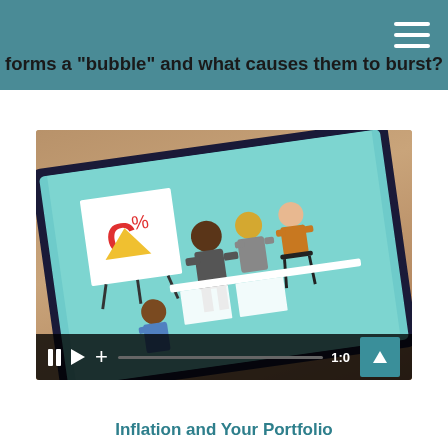forms a 'bubble' and what causes them to burst?
[Figure (screenshot): Video player showing a tablet displaying an animated illustration of business people in a meeting/presentation setting. Video controls are visible at the bottom including pause, play, plus buttons, a progress bar, timestamp showing 1:0, and a teal up-arrow button.]
Inflation and Your Portfolio